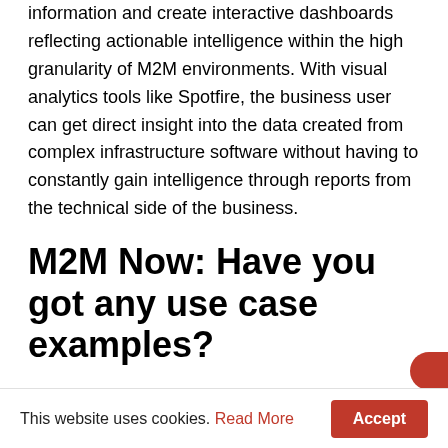information and create interactive dashboards reflecting actionable intelligence within the high granularity of M2M environments. With visual analytics tools like Spotfire, the business user can get direct insight into the data created from complex infrastructure software without having to constantly gain intelligence through reports from the technical side of the business.
M2M Now: Have you got any use case examples?
IS: The Smart Energy environment is an area where TIBCO has been very active over the last few years. A number of global utilities combine the aspects of realtime M2M to give a picture of energy assets (distribution stations, feed